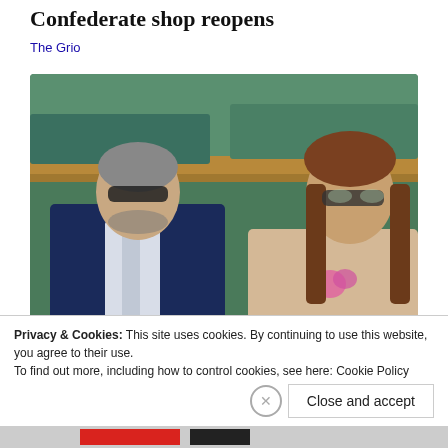Confederate shop reopens
The Grio
[Figure (photo): Two people sitting in stadium seats at Wimbledon. On the left is an older man with grey hair and sunglasses wearing a dark navy suit with a white shirt and light tie. On the right is a younger woman with long brown hair wearing sunglasses and a beige/nude outfit with a pink flower accessory.]
Privacy & Cookies: This site uses cookies. By continuing to use this website, you agree to their use.
To find out more, including how to control cookies, see here: Cookie Policy
Close and accept